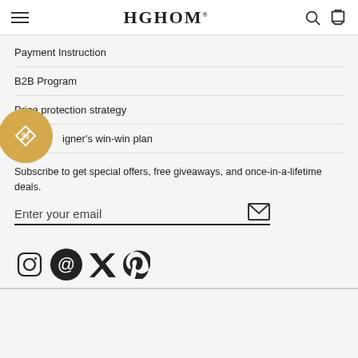HGHOM
Payment Instruction
B2B Program
Price protection strategy
igner's win-win plan
Subscribe to get special offers, free giveaways, and once-in-a-lifetime deals.
Enter your email
[Figure (other): Social media icons: Instagram, Threads, Twitter, Pinterest]